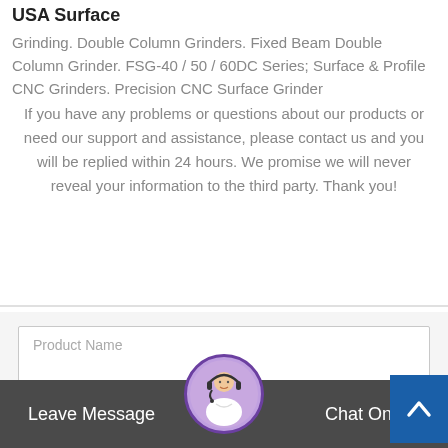USA Surface
Grinding. Double Column Grinders. Fixed Beam Double Column Grinder. FSG-40 / 50 / 60DC Series; Surface & Profile CNC Grinders. Precision CNC Surface Grinder
If you have any problems or questions about our products or need our support and assistance, please contact us and you will be replied within 24 hours. We promise we will never reveal your information to the third party. Thank you!
Product Name
Your Name
Leave Message
Chat Online